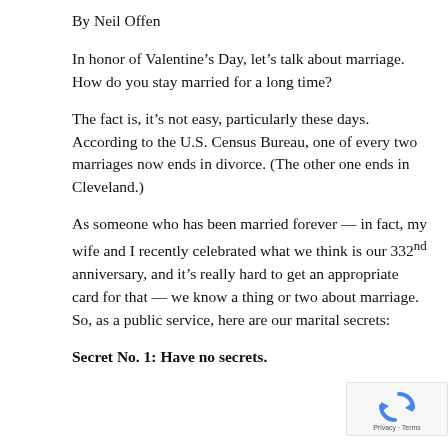By Neil Offen
In honor of Valentine’s Day, let’s talk about marriage. How do you stay married for a long time?
The fact is, it’s not easy, particularly these days. According to the U.S. Census Bureau, one of every two marriages now ends in divorce. (The other one ends in Cleveland.)
As someone who has been married forever — in fact, my wife and I recently celebrated what we think is our 332nd anniversary, and it’s really hard to get an appropriate card for that — we know a thing or two about marriage. So, as a public service, here are our marital secrets:
Secret No. 1: Have no secrets.
[Figure (logo): reCAPTCHA badge with Privacy and Terms links]